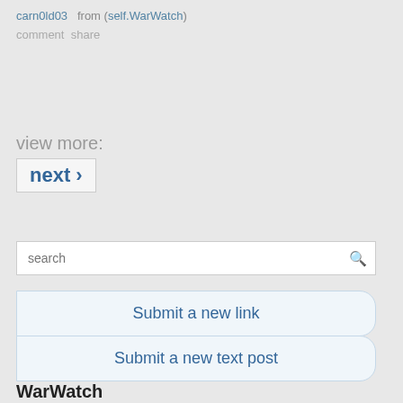carn0ld03  from (self.WarWatch)
comment  share
view more:
next ›
[Figure (screenshot): Search input box with placeholder text 'search' and a magnifying glass icon on the right]
Submit a new link
Submit a new text post
WarWatch
unsubscribe  37,903 readers